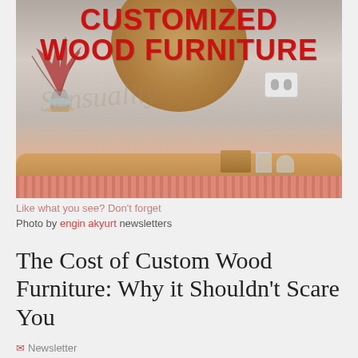[Figure (photo): Photo of a customized wood furniture piece — a rounded tabletop on a coral/salmon ribbed cabinet base, with a plant in a vase, wooden organizer box, glass items on the surface, and a wall socket visible. Large red bold text overlay reads 'CUSTOMIZED WOOD FURNITURE'.]
Like what you see?  Don't forget
Photo by engin akyurt newsletters
The Cost of Custom Wood Furniture: Why it Shouldn't Scare You